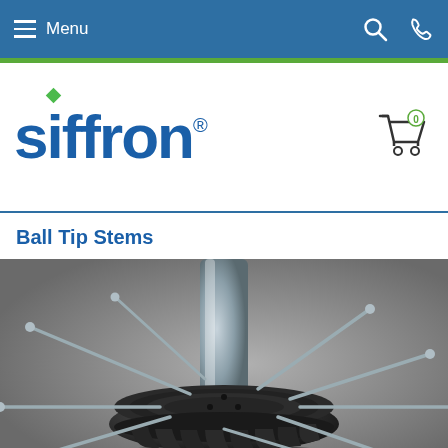Menu
[Figure (logo): Siffron company logo with green diamond above the letter i]
[Figure (illustration): Shopping cart icon with 0 badge]
Ball Tip Stems
[Figure (photo): Close-up product photo of ball tip stems — a round black base with multiple metal wire stems radiating outward, mounted on a silver cylindrical post, on a grey background]